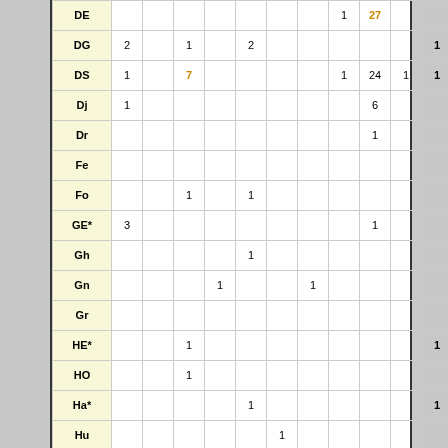| Code | col1 | col2 | col3 | col4 | col5 | col6 | col7 | col8 | col9 | col10 | col11 |
| --- | --- | --- | --- | --- | --- | --- | --- | --- | --- | --- | --- |
| DE |  |  |  |  |  |  |  | 1 | 27 |  |  |
| DG | 2 |  | 1 |  | 2 |  |  |  |  |  | 1 |
| DS | 1 |  | 7 |  |  |  |  | 1 | 24 | 1 | 1 |
| Dj | 1 |  |  |  |  |  |  |  | 6 |  |  |
| Dr |  |  |  |  |  |  |  |  | 1 |  |  |
| Fe |  |  |  |  |  |  |  |  |  |  |  |
| Fo |  |  | 1 |  | 1 |  |  |  |  |  |  |
| GE* | 3 |  |  |  |  |  |  |  | 1 |  |  |
| Gh |  |  |  |  | 1 |  |  |  |  |  |  |
| Gn |  |  |  | 1 |  |  | 1 |  |  |  |  |
| Gr |  |  |  |  |  |  |  |  |  |  |  |
| HE* |  |  | 1 |  |  |  |  |  |  |  | 1 |
| HO |  |  | 1 |  |  |  |  |  |  |  |  |
| Ha* |  |  |  |  | 1 |  |  |  |  |  | 1 |
| Hu |  |  |  |  |  | 1 |  |  |  |  |  |
| Ke* | 1 |  |  |  |  |  | 1 | 1 |  | 1 |  |